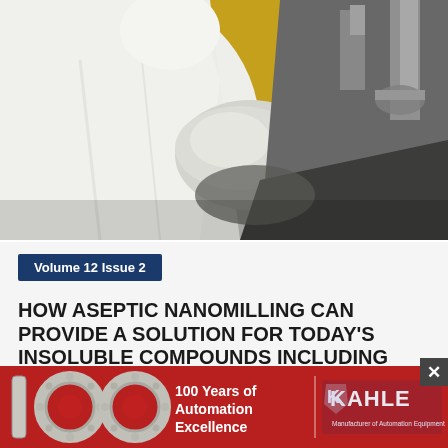[Figure (photo): A person in white lab coat and gloves working with metal laboratory/pharmaceutical equipment against a yellow background in a cleanroom setting]
Volume 12 Issue 2
HOW ASEPTIC NANOMILLING CAN PROVIDE A SOLUTION FOR TODAY'S INSOLUBLE COMPOUNDS INCLUDING
[Figure (infographic): Red banner advertisement: '100 Years of Automation Excellence' with gear-styled 100 numerals and Kahle Automation Equipment logo]